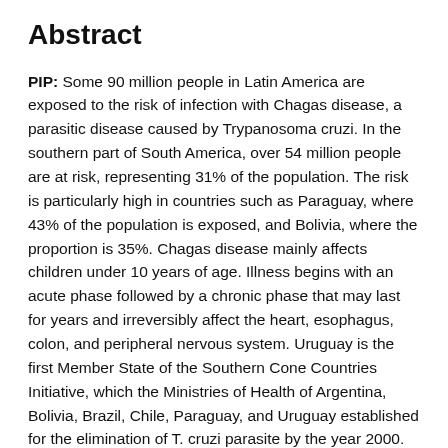Abstract
PIP: Some 90 million people in Latin America are exposed to the risk of infection with Chagas disease, a parasitic disease caused by Trypanosoma cruzi. In the southern part of South America, over 54 million people are at risk, representing 31% of the population. The risk is particularly high in countries such as Paraguay, where 43% of the population is exposed, and Bolivia, where the proportion is 35%. Chagas disease mainly affects children under 10 years of age. Illness begins with an acute phase followed by a chronic phase that may last for years and irreversibly affect the heart, esophagus, colon, and peripheral nervous system. Uruguay is the first Member State of the Southern Cone Countries Initiative, which the Ministries of Health of Argentina, Bolivia, Brazil, Chile, Paraguay, and Uruguay established for the elimination of T. cruzi parasite by the year 2000. This program was launched in Brasilia in June 1991. In Uruguay seroepidemiological surveys at the end of 1992